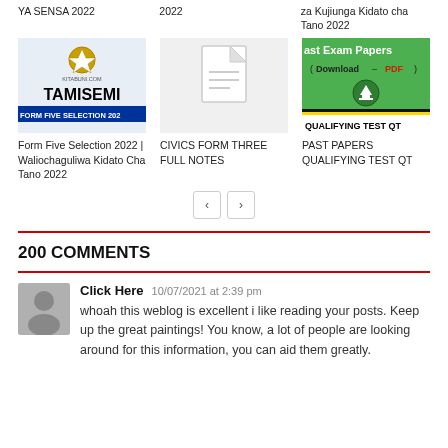YA SENSA 2022
2022
za Kujiunga Kidato cha Tano 2022
[Figure (screenshot): TAMISEMI Form Five Selection 2022 image from kitabuni.com]
[Figure (screenshot): Document icon placeholder image]
[Figure (screenshot): Past Exam Papers Download PDF - Qualifying Test QT green banner]
Form Five Selection 2022 | Waliochaguliwa Kidato Cha Tano 2022
CIVICS FORM THREE FULL NOTES
PAST PAPERS QUALIFYING TEST QT
< >
200 COMMENTS
Click Here  10/07/2021 at 2:39 pm
whoah this weblog is excellent i like reading your posts. Keep up the great paintings! You know, a lot of people are looking around for this information, you can aid them greatly.